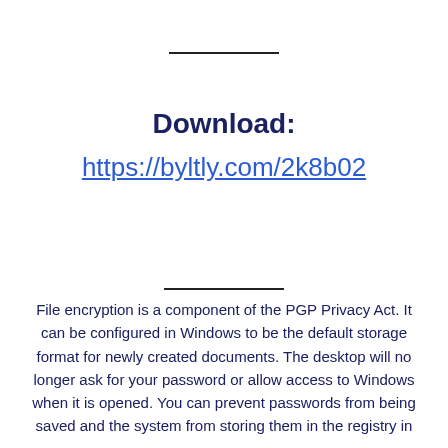Download:
https://byltly.com/2k8b02
File encryption is a component of the PGP Privacy Act. It can be configured in Windows to be the default storage format for newly created documents. The desktop will no longer ask for your password or allow access to Windows when it is opened. You can prevent passwords from being saved and the system from storing them in the registry in